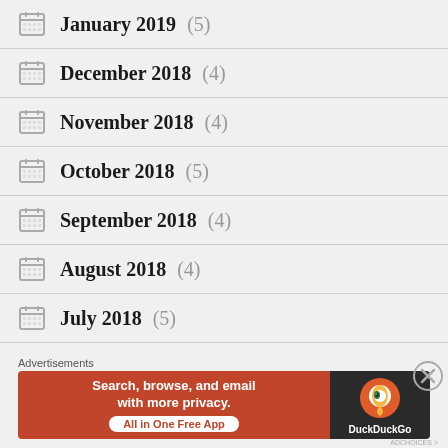January 2019 (5)
December 2018 (4)
November 2018 (4)
October 2018 (5)
September 2018 (4)
August 2018 (4)
July 2018 (5)
June 2018 (4)
[Figure (screenshot): DuckDuckGo advertisement banner: 'Search, browse, and email with more privacy. All in One Free App' with DuckDuckGo logo on dark background.]